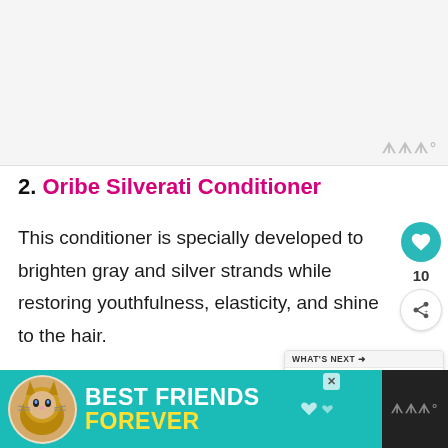[Figure (photo): Product image placeholder area with light gray background and watermark logo in bottom right]
2. Oribe Silverati Conditioner
This conditioner is specially developed to brighten gray and silver strands while restoring youthfulness, elasticity, and shine to the hair.
[Figure (screenshot): What's Next widget showing Purple Hair Masks article with thumbnail]
[Figure (photo): Advertisement banner: BEST FRIENDS FOREVER with cat image on teal background]